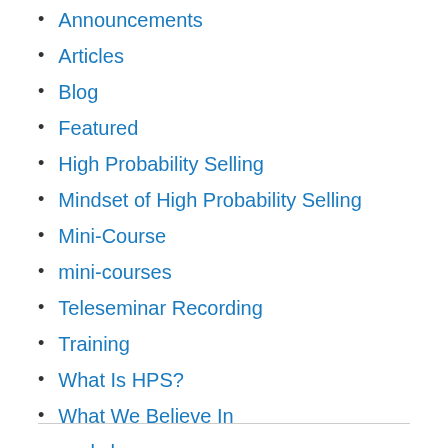Announcements
Articles
Blog
Featured
High Probability Selling
Mindset of High Probability Selling
Mini-Course
mini-courses
Teleseminar Recording
Training
What Is HPS?
What We Believe In
workshops
workshops